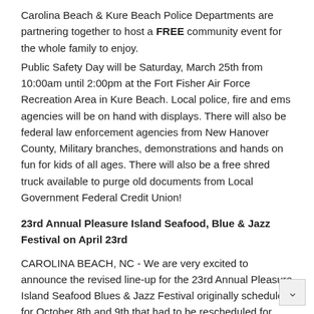Carolina Beach & Kure Beach Police Departments are partnering together to host a FREE community event for the whole family to enjoy.
Public Safety Day will be Saturday, March 25th from 10:00am until 2:00pm at the Fort Fisher Air Force Recreation Area in Kure Beach. Local police, fire and ems agencies will be on hand with displays. There will also be federal law enforcement agencies from New Hanover County, Military branches, demonstrations and hands on fun for kids of all ages. There will also be a free shred truck available to purge old documents from Local Government Federal Credit Union!
23rd Annual Pleasure Island Seafood, Blue & Jazz Festival on April 23rd
CAROLINA BEACH, NC - We are very excited to announce the revised line-up for the 23rd Annual Pleasure Island Seafood Blues & Jazz Festival originally scheduled for October 8th and 9th that had to be rescheduled for Sunday, April 23rd, 2017 at the Fort Fisher Air Force Recreation Area in Kure Beach, NC due to Hurricane Matthew. We